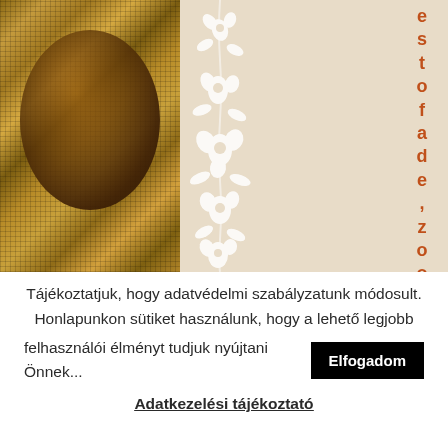[Figure (photo): Left: woven textile/burlap fabric with brown golden tones and a dark round shape. Right: beige/cream background with white decorative floral vine motif and vertical text in orange-red reading 'estofa de, zoomo']
Tájékoztatjuk, hogy adatvédelmi szabályzatunk módosult. Honlapunkon sütiket használunk, hogy a lehető legjobb felhasználói élményt tudjuk nyújtani Önnek...
Elfogadom
Adatkezelési tájékoztató